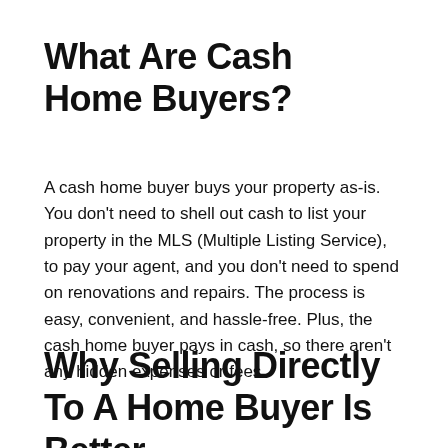What Are Cash Home Buyers?
A cash home buyer buys your property as-is. You don't need to shell out cash to list your property in the MLS (Multiple Listing Service), to pay your agent, and you don't need to spend on renovations and repairs. The process is easy, convenient, and hassle-free. Plus, the cash home buyer pays in cash, so there aren't any hidden expenses or fees.
Why Selling Directly To A Home Buyer Is Better